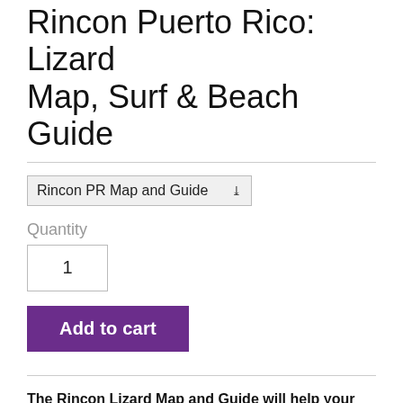Rincon Puerto Rico: Lizard Map, Surf & Beach Guide
Rincon PR Map and Guide
Quantity
1
Add to cart
The Rincon Lizard Map and Guide will help your customers get the most of their time in Rincon.
Rincon's beaches and surf breaks are world renowned and extraordinarily beautiful. A global destination for surfing, paddle boarding, scuba diving and snorkeling. It's also a popular location